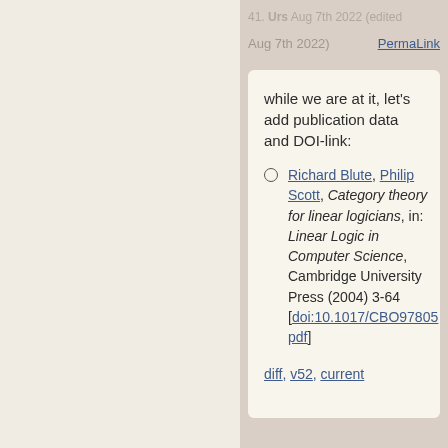41. Urs Aug 7th 2022 (edited Aug 7th 2022)   PermaLink
while we are at it, let's add publication data and DOI-link:
Richard Blute, Philip Scott, Category theory for linear logicians, in: Linear Logic in Computer Science, Cambridge University Press (2004) 3-64 [doi:10.1017/CBO9780... pdf]
diff, v52, current